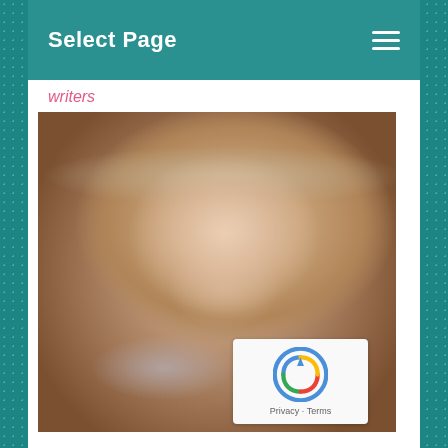Select Page
writers
[Figure (photo): Close-up portrait of a blonde woman with bangs and green eyes, resting her chin on her hand, wearing a light gray top. Warm professional headshot against a neutral background.]
Privacy · Terms